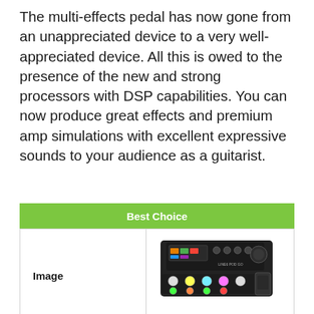The multi-effects pedal has now gone from an unappreciated device to a very well-appreciated device. All this is owed to the presence of the new and strong processors with DSP capabilities. You can now produce great effects and premium amp simulations with excellent expressive sounds to your audience as a guitarist.
| Best Choice |
| --- |
| Image | [product image of Line 6 POD GO multi-effects pedal] |